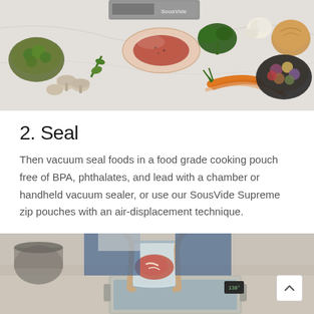[Figure (photo): Overhead flat-lay photo of a vacuum sealer machine with a raw steak in a sealed plastic pouch, surrounded by vegetables and ingredients on a white marble surface: brussels sprouts in a green bowl, mushrooms, herbs, garlic, carrots, an onion, and colorful baby potatoes in a dark bowl.]
2. Seal
Then vacuum seal foods in a food grade cooking pouch free of BPA, phthalates, and lead with a chamber or handheld vacuum sealer, or use our SousVide Supreme zip pouches with an air-displacement technique.
[Figure (photo): Photo of a person placing a vacuum-sealed bag containing raw meat into a stainless steel sous vide water bath container in a kitchen setting.]